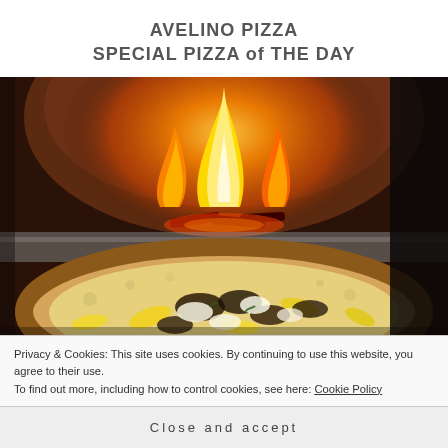AVELINO PIZZA
SPECIAL PIZZA of THE DAY
[Figure (photo): A Neapolitan-style pizza with charred crust, mozzarella, mushrooms, and yellow peppers, placed in front of a glowing wood-fired oven with open flames.]
Privacy & Cookies: This site uses cookies. By continuing to use this website, you agree to their use.
To find out more, including how to control cookies, see here: Cookie Policy
Close and accept